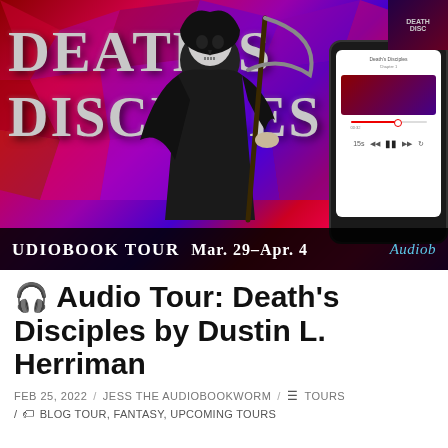[Figure (photo): Book tour banner for Death's Disciples by Dustin L. Herriman. Features a grim reaper figure in black robes holding a scythe against a vivid stained-glass style background in red, purple, and blue. Large text reads DEATH'S DISCIPLES. A smartphone mockup shows an audiobook player. Bottom bar reads: AUDIOBOOK TOUR MAR. 29-APR. 4 with Audiob[ook Tour logo].]
🎧 Audio Tour: Death's Disciples by Dustin L. Herriman
FEB 25, 2022 / JESS THE AUDIOBOOKWORM / ☰ TOURS
/ 🏷 BLOG TOUR, FANTASY, UPCOMING TOURS